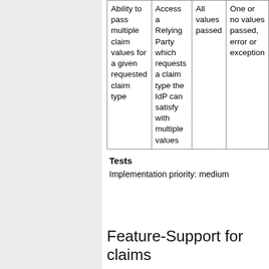|  |  | All values passed | One or no values passed, error or exception |
| --- | --- | --- | --- |
| Ability to pass multiple claim values for a given requested claim type | Access a Relying Party which requests a claim type the IdP can satisfy with multiple values | All values passed | One or no values passed, error or exception |
Tests
Implementation priority: medium
Feature-Support for claims